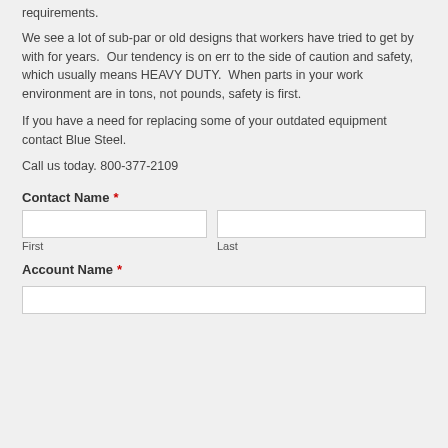requirements.
We see a lot of sub-par or old designs that workers have tried to get by with for years.  Our tendency is on err to the side of caution and safety, which usually means HEAVY DUTY.  When parts in your work environment are in tons, not pounds, safety is first.
If you have a need for replacing some of your outdated equipment contact Blue Steel.
Call us today. 800-377-2109
Contact Name *
First
Last
Account Name *